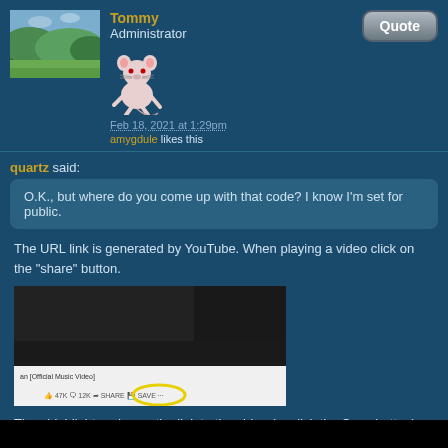Tommy
Administrator
[Figure (illustration): Landscape photo avatar and cartoon mouse avatar for user Tommy]
Feb 18, 2021 at 1:29pm
amygdule likes this
Quote (button)
quartz said:
O.K., but where do you come up with that code? I know I'm set for public.
The URL link is generated by YouTube. When playing a video click on the "share" button.
[Figure (screenshot): Screenshot of YouTube video player showing share button circled in yellow]
Then highlight and copy the link to the video (or click the Copy button).